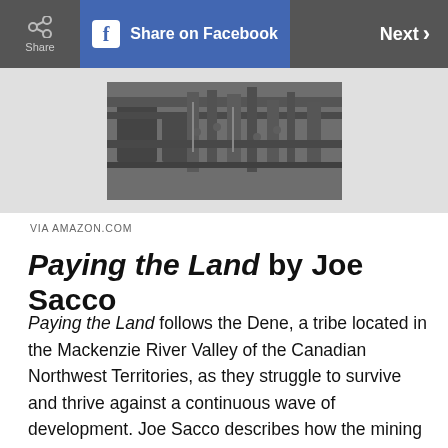Share | Share on Facebook | Next
[Figure (photo): Black and white illustration or photograph of industrial/mining machinery, partially visible at top of page, on a light grey background]
VIA AMAZON.COM
Paying the Land by Joe Sacco
Paying the Land follows the Dene, a tribe located in the Mackenzie River Valley of the Canadian Northwest Territories, as they struggle to survive and thrive against a continuous wave of development. Joe Sacco describes how the mining boom is only one of many issues the Indigenous population continues to face, along with discriminatory educational practices, the process of becoming colonized, and more recently, a substantial land...